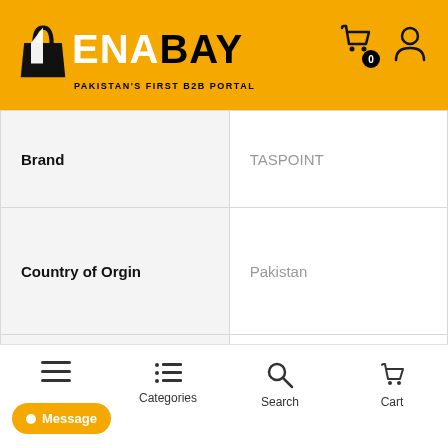[Figure (logo): MENABAY logo with shopping bag icon and tagline 'PAKISTAN'S FIRST B2B PORTAL' on yellow background with cart and user icons]
| Brand | TASPOINT |
| Country of Orgin | Pakistan |
| Made in (Country) | Pakistan |
| Package | 100 kg (1.0 kg ) |
[Figure (screenshot): Mobile bottom navigation bar with hamburger menu, Categories, Search, Cart, and a Message button]